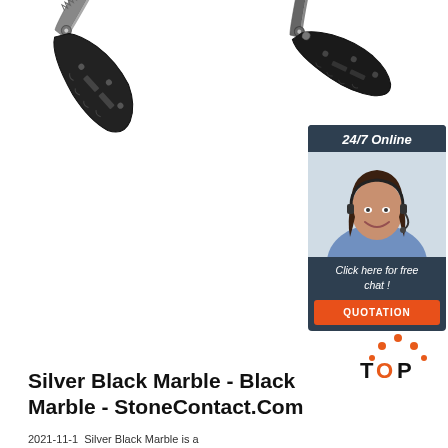[Figure (photo): Two black folding knives photographed on white background — one shown open at an angle with serrated blade, one shown from the side with blade open]
[Figure (infographic): Chat widget: dark navy box with '24/7 Online' header, photo of smiling woman with headset, 'Click here for free chat !' text, and orange 'QUOTATION' button]
[Figure (logo): TOP logo with orange arch/crown shape above letters T, O (orange), P in black and orange]
Silver Black Marble - Black Marble - StoneContact.Com
2021-11-1  Silver Black Marble is a